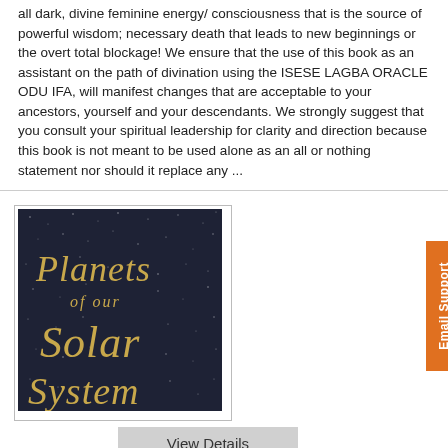all dark, divine feminine energy/ consciousness that is the source of powerful wisdom; necessary death that leads to new beginnings or the overt total blockage! We ensure that the use of this book as an assistant on the path of divination using the ISESE LAGBA ORACLE ODU IFA, will manifest changes that are acceptable to your ancestors, yourself and your descendants. We strongly suggest that you consult your spiritual leadership for clarity and direction because this book is not meant to be used alone as an all or nothing statement nor should it replace any ...
[Figure (illustration): Book cover with dark navy/blue starry background and gold handwritten-style text reading 'Planets of our Solar System']
View Details
Email Support